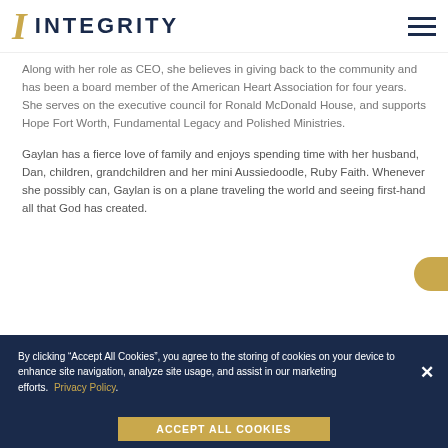INTEGRITY
Along with her role as CEO, she believes in giving back to the community and has been a board member of the American Heart Association for four years. She serves on the executive council for Ronald McDonald House, and supports Hope Fort Worth, Fundamental Legacy and Polished Ministries.
Gaylan has a fierce love of family and enjoys spending time with her husband, Dan, children, grandchildren and her mini Aussiedoodle, Ruby Faith. Whenever she possibly can, Gaylan is on a plane traveling the world and seeing first-hand all that God has created.
By clicking “Accept All Cookies”, you agree to the storing of cookies on your device to enhance site navigation, analyze site usage, and assist in our marketing efforts. Privacy Policy